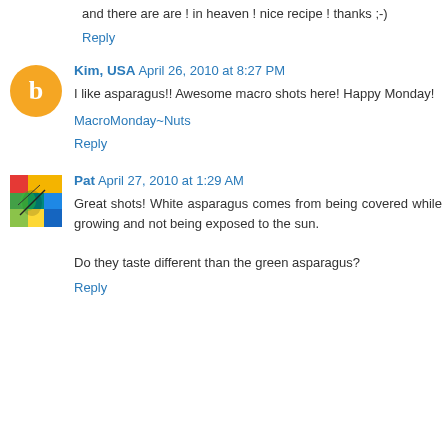and there are are ! in heaven ! nice recipe ! thanks ;-)
Reply
Kim, USA  April 26, 2010 at 8:27 PM
I like asparagus!! Awesome macro shots here! Happy Monday!
MacroMonday~Nuts
Reply
Pat  April 27, 2010 at 1:29 AM
Great shots! White asparagus comes from being covered while growing and not being exposed to the sun.
Do they taste different than the green asparagus?
Reply